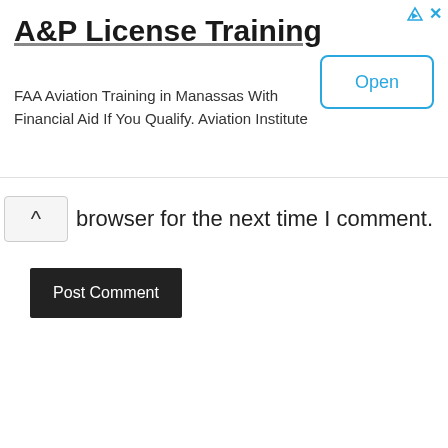[Figure (screenshot): Advertisement banner for A&P License Training showing title, description, and Open button with ad icons]
browser for the next time I comment.
Post Comment
YOU MAY LIKE
[Figure (photo): Dark photo of people, partially visible, in a dimly lit environment. A chevron/arrow up icon is visible on the right side.]